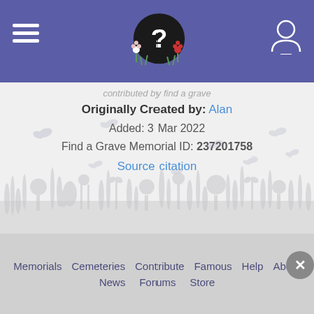Find a Grave website header with logo and navigation
Originally Created by: Alan
Added: 3 Mar 2022
Find a Grave Memorial ID: 237201758
Source citation
[Figure (illustration): Decorative meadow background with butterfly silhouettes and floral/grass elements in light gray]
Memorials   Cemeteries   Contribute   Famous   Help   About   News   Forums   Store